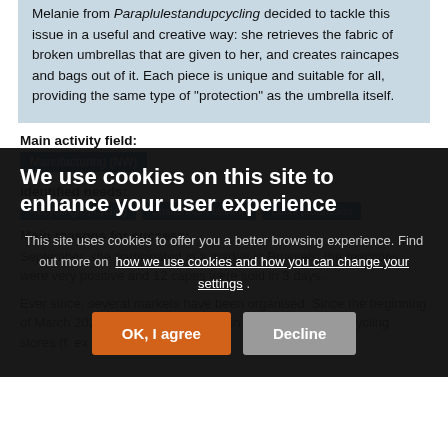Melanie from Paraplulestandupcycling decided to tackle this issue in a useful and creative way: she retrieves the fabric of broken umbrellas that are given to her, and creates raincapes and bags out of it. Each piece is unique and suitable for all, providing the same type of "protection" as the umbrella itself.
Main activity field:
Manufacturing (NW)
Identified needs:
Recycling/Upcycling
Sustainable fashion
Local production
Main reasons for success:
September, she participated in a market in Brussels; the reactions were very positive and 12 capes were sold in 3 days.
Ever since, several markets have been organised. Since the beginning of March 2020, there is an exhibition in 3 recycling and upcycling stores (f. ex. Yumarvillage)
[Figure (screenshot): Cookie consent overlay dialog on a dark semi-transparent background reading 'We use cookies on this site to enhance your user experience' with OK, I agree and Decline buttons.]